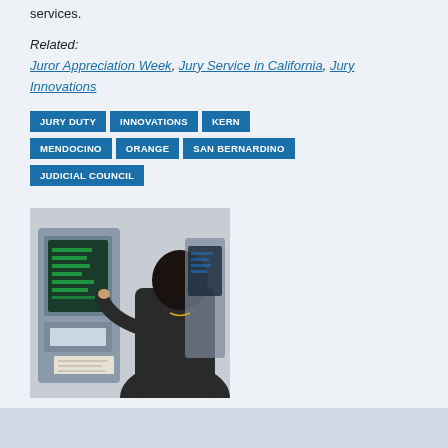services.
Related:
Juror Appreciation Week, Jury Service in California, Jury Innovations
JURY DUTY
INNOVATIONS
KERN
MENDOCINO
ORANGE
SAN BERNARDINO
JUDICIAL COUNCIL
[Figure (photo): A person using a touch-screen kiosk terminal, pressing the screen with their finger. A second kiosk is visible in the background.]